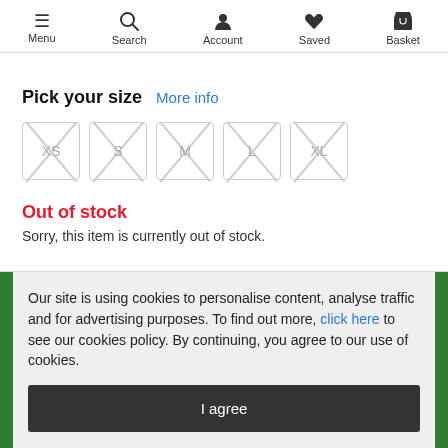Menu  Search  Account  Saved  Basket
Pick your size  More info
[Figure (other): Five size selector buttons (XS, S, M, L, XL) each showing an X cross through them indicating unavailable sizes]
Out of stock
Sorry, this item is currently out of stock.
Our site is using cookies to personalise content, analyse traffic and for advertising purposes. To find out more, click here to see our cookies policy. By continuing, you agree to our use of cookies.
I agree